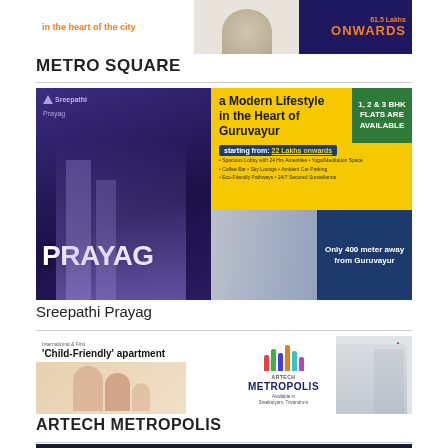[Figure (photo): Partial top ad banner with text 'in the heart of the city' and price 'Onwards' in orange on dark background]
METRO SQUARE
[Figure (photo): Sreepathi Prayag real estate advertisement - 'a Modern Lifestyle in the Heart of Guruvayur', 1, 2 & 3 BHK Flats Are Available, starting from 22 Lakhs onwards, Only 400 meter away from Guruvayur]
Sreepathi Prayag
[Figure (photo): Artech Metropolis apartment advertisement - 'Child-Friendly apartment', ARTECH METROPOLIS logo with colorful bars, family photo on left, building rendering on right]
ARTECH METROPOLIS
[Figure (photo): Partial bottom advertisement - Best Luxury apartment in Calicut, 1.2 Cr, dark background with building image]